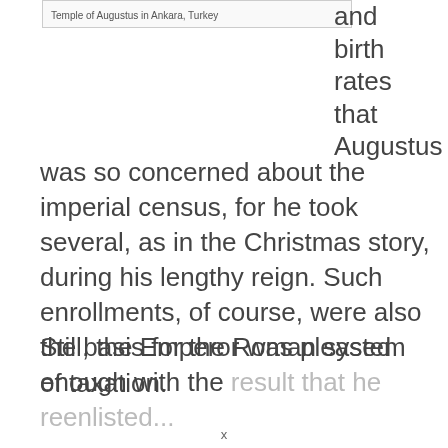Temple of Augustus in Ankara, Turkey
and birth rates that Augustus was so concerned about the imperial census, for he took several, as in the Christmas story, during his lengthy reign. Such enrollments, of course, were also the basis for the Roman system of taxation.
Still, the Emperor was pleased enough with the result that he reenlisted...
x